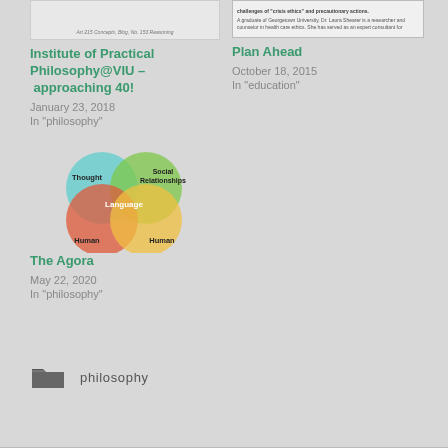[Figure (screenshot): Thumbnail image of Institute of Practical Philosophy article]
Institute of Practical Philosophy@VIU – approaching 40!
January 23, 2018
In "philosophy"
[Figure (screenshot): Thumbnail image of Plan Ahead article with text about crisis ethics]
Plan Ahead
October 18, 2015
In "education"
[Figure (illustration): Venn diagram showing overlapping circles: Thought, Social Relationships, Human, Human (other), with Language at center]
The Agora
May 22, 2020
In "philosophy"
philosophy